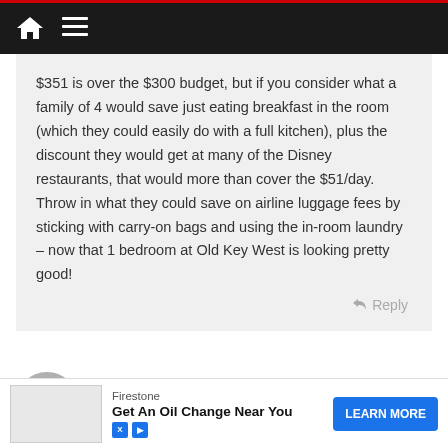Navigation bar with home and menu icons
$351 is over the $300 budget, but if you consider what a family of 4 would save just eating breakfast in the room (which they could easily do with a full kitchen), plus the discount they would get at many of the Disney restaurants, that would more than cover the $51/day. Throw in what they could save on airline luggage fees by sticking with carry-on bags and using the in-room laundry – now that 1 bedroom at Old Key West is looking pretty good!
Clare
February 9, 2012 at 2:31 pm
Great article
[Figure (other): Firestone advertisement: Get An Oil Change Near You with LEARN MORE button]